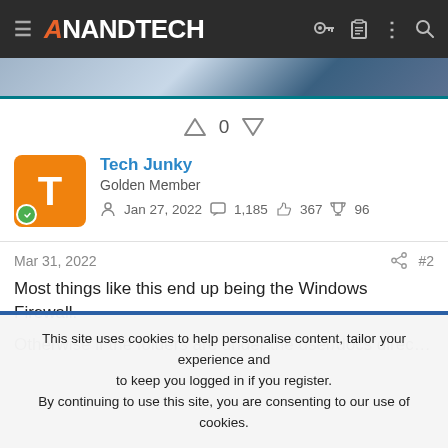AnandTech
[Figure (screenshot): Partial screenshot of a laptop/device image strip]
0 (vote count with up and down arrows)
Tech Junky
Golden Member
Jan 27, 2022  1,185  367  96
Mar 31, 2022  #2
Most things like this end up being the Windows Firewall.
Otherwise if the folders are under the user/docs directory they'll be
This site uses cookies to help personalise content, tailor your experience and to keep you logged in if you register.
By continuing to use this site, you are consenting to our use of cookies.